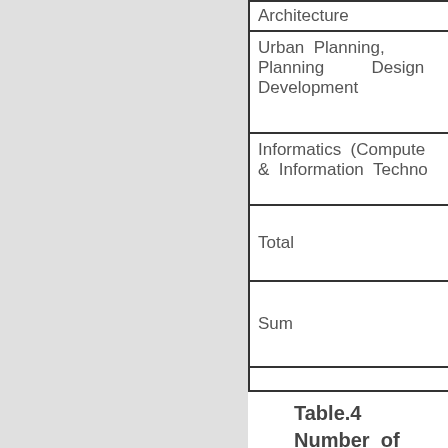| Department |
| --- |
| Architecture |
| Urban Planning, Planning Design Development |
| Informatics (Computer & Information Technology) |
| Total |
| Sum |
|  |
|  |
Table.4  Number of Teachers on the Learning in 2010
| Department |
| --- |
| Department |
| Surveying Engineering |
| Mechanical Engineering |
| Food Science Technology Process Engineering |